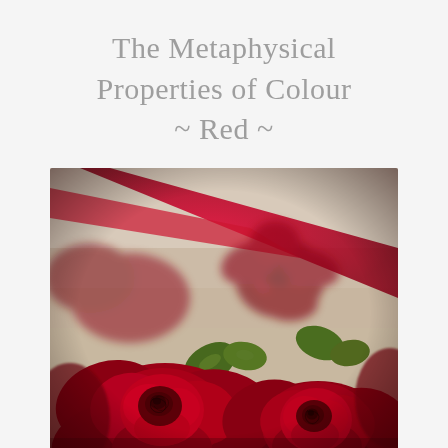The Metaphysical Properties of Colour ~ Red ~
[Figure (photo): Close-up photograph of red roses with dark crimson petals, green leaves visible, wrapped in red ribbon/paper. Shallow depth of field, background blurred beige/cream tone. Multiple roses clustered together filling the frame.]